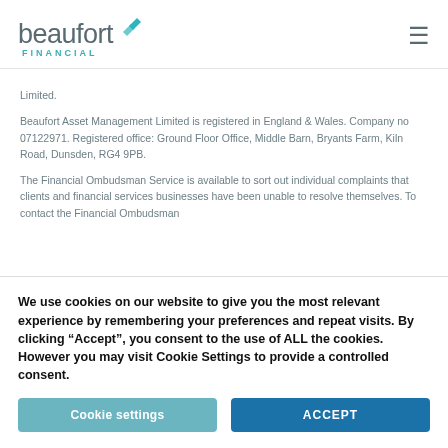beaufort FINANCIAL [logo with chevrons and hamburger menu]
Limited.
Beaufort Asset Management Limited is registered in England & Wales. Company no 07122971. Registered office: Ground Floor Office, Middle Barn, Bryants Farm, Kiln Road, Dunsden, RG4 9PB.
The Financial Ombudsman Service is available to sort out individual complaints that clients and financial services businesses have been unable to resolve themselves. To contact the Financial Ombudsman
We use cookies on our website to give you the most relevant experience by remembering your preferences and repeat visits. By clicking “Accept”, you consent to the use of ALL the cookies. However you may visit Cookie Settings to provide a controlled consent.